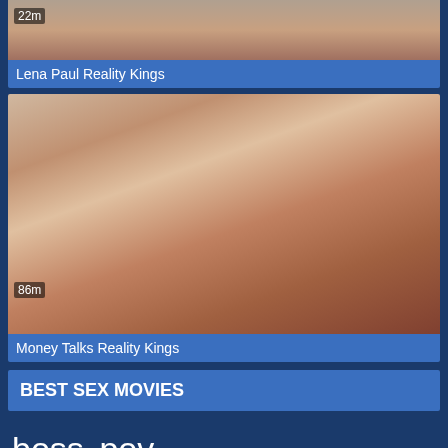[Figure (screenshot): Video thumbnail top - Lena Paul Reality Kings, duration 22m]
Lena Paul Reality Kings
[Figure (screenshot): Video thumbnail - Money Talks Reality Kings, duration 86m]
Money Talks Reality Kings
BEST SEX MOVIES
boss pov Fatblackwomansex hijob Find...